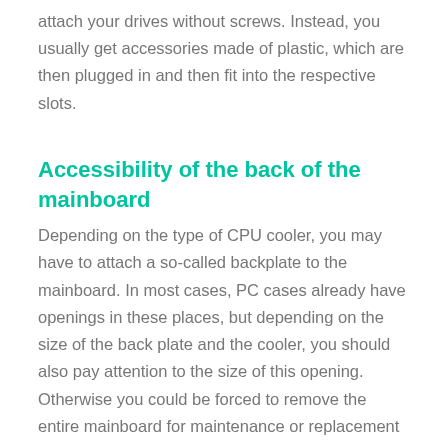attach your drives without screws. Instead, you usually get accessories made of plastic, which are then plugged in and then fit into the respective slots.
Accessibility of the back of the mainboard
Depending on the type of CPU cooler, you may have to attach a so-called backplate to the mainboard. In most cases, PC cases already have openings in these places, but depending on the size of the back plate and the cooler, you should also pay attention to the size of this opening. Otherwise you could be forced to remove the entire mainboard for maintenance or replacement purposes.